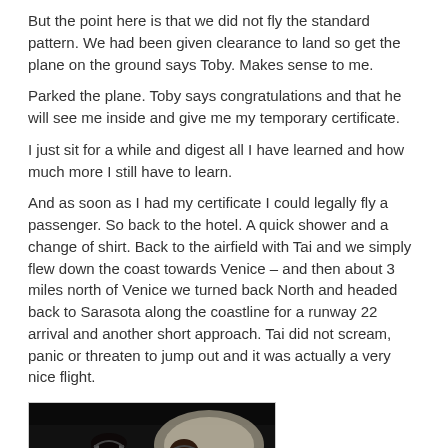But the point here is that we did not fly the standard pattern. We had been given clearance to land so get the plane on the ground says Toby. Makes sense to me.
Parked the plane. Toby says congratulations and that he will see me inside and give me my temporary certificate.
I just sit for a while and digest all I have learned and how much more I still have to learn.
And as soon as I had my certificate I could legally fly a passenger. So back to the hotel. A quick shower and a change of shirt. Back to the airfield with Tai and we simply flew down the coast towards Venice – and then about 3 miles north of Venice we turned back North and headed back to Sarasota along the coastline for a runway 22 arrival and another short approach. Tai did not scream, panic or threaten to jump out and it was actually a very nice flight.
[Figure (photo): Two people in a small aircraft cockpit, view from behind, with headsets on. The cockpit interior is visible with dark equipment panels.]